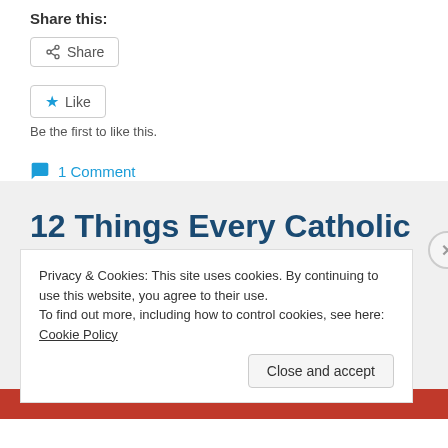Share this:
[Figure (screenshot): Share button with share icon]
[Figure (screenshot): Like button with blue star icon]
Be the first to like this.
1 Comment
12 Things Every Catholic
Privacy & Cookies: This site uses cookies. By continuing to use this website, you agree to their use.
To find out more, including how to control cookies, see here: Cookie Policy
Close and accept